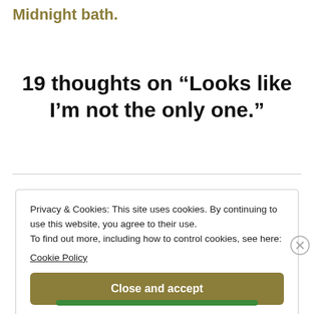Midnight bath.
19 thoughts on “Looks like I’m not the only one.”
Privacy & Cookies: This site uses cookies. By continuing to use this website, you agree to their use.
To find out more, including how to control cookies, see here:
Cookie Policy
Close and accept